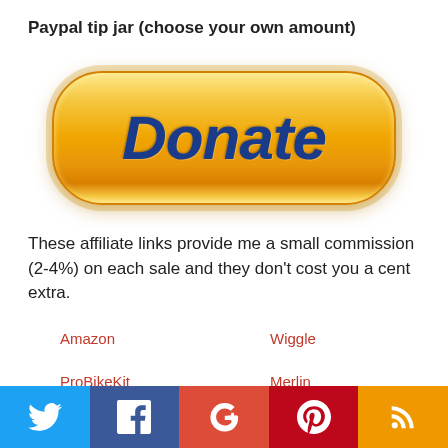Paypal tip jar (choose your own amount)
[Figure (illustration): PayPal Donate button - a large golden/orange pill-shaped button with 'Donate' written in bold dark blue italic text]
These affiliate links provide me a small commission (2-4%) on each sale and they don't cost you a cent extra.
Amazon
Wiggle
ProBikeKit
Merlin
[Figure (infographic): Social media share bar with Twitter (blue), Facebook (dark blue), Google+ (red), Pinterest (dark red), RSS (orange) icons]